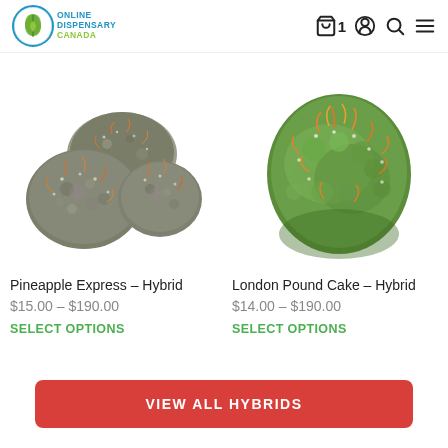Online Dispensary Canada — cart: 1
[Figure (photo): Photo of Pineapple Express cannabis buds — greenish-grey dense nuggets]
Pineapple Express – Hybrid
$15.00 – $190.00
SELECT OPTIONS
[Figure (photo): Photo of London Pound Cake cannabis buds — bright green dense nuggets with orange hairs]
London Pound Cake – Hybrid
$14.00 – $190.00
SELECT OPTIONS
VIEW ALL HYBRIDS